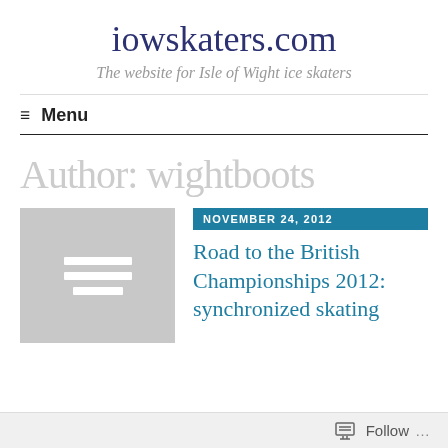iowskaters.com
The website for Isle of Wight ice skaters
≡ Menu
Author: wightboots
[Figure (illustration): Gray placeholder thumbnail image with white horizontal lines icon]
NOVEMBER 24, 2012
Road to the British Championships 2012: synchronized skating
Follow